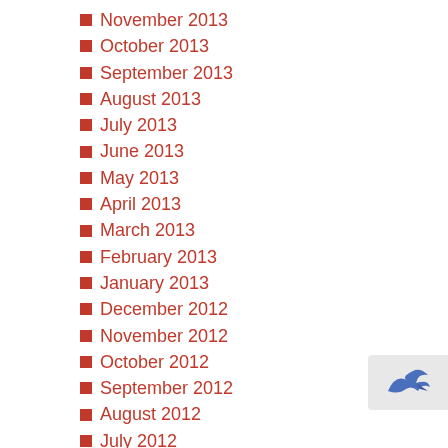November 2013
October 2013
September 2013
August 2013
July 2013
June 2013
May 2013
April 2013
March 2013
February 2013
January 2013
December 2012
November 2012
October 2012
September 2012
August 2012
July 2012
June 2012
[Figure (logo): Blue arrow/bird logo in bottom-right corner]